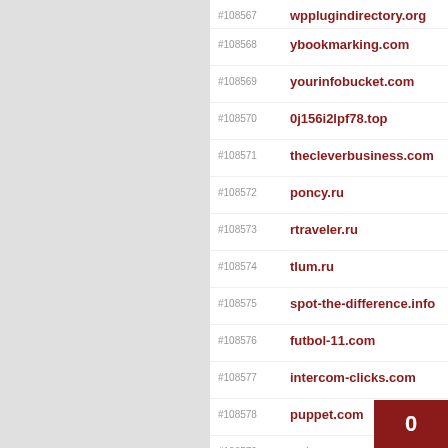#108567 wpplugindirectory.org
#108568 ybookmarking.com
#108569 yourinfobucket.com
#108570 0j156i2lpf78.top
#108571 thecleverbusiness.com
#108572 poncy.ru
#108573 rtraveler.ru
#108574 tlum.ru
#108575 spot-the-difference.info
#108576 futbol-11.com
#108577 intercom-clicks.com
#108578 puppet.com
#108579 aptean.com